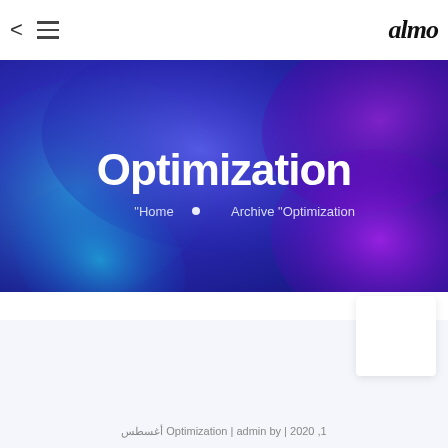< ≡  almo
[Figure (illustration): Hero banner with purple and blue abstract blob shapes gradient background, containing the title Optimization and breadcrumb navigation]
Optimization
"Home • Archive "Optimization
[Figure (other): White card/thumbnail image partially visible at bottom right]
Optimization | admin by | 2020 ,1 أغسطس